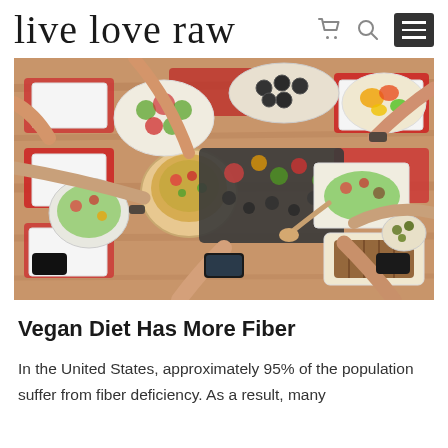live love raw
[Figure (photo): Overhead view of people reaching across a wooden dining table filled with various dishes including salads, sushi rolls, grain bowls, bread, and colorful vegetable platters on red placemats.]
Vegan Diet Has More Fiber
In the United States, approximately 95% of the population suffer from fiber deficiency. As a result, many